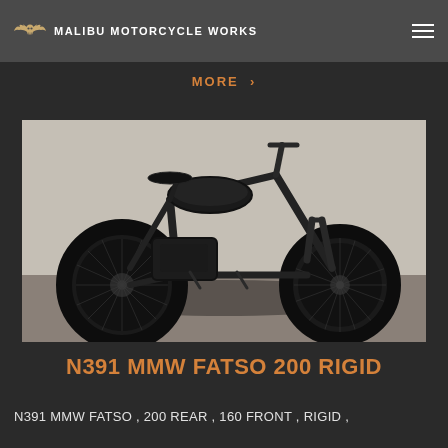MALIBU MOTORCYCLE WORKS
MORE ›
[Figure (photo): A custom bobber-style motorcycle frame (N391 MMW FATSO 200 RIGID) photographed outdoors against a white stucco wall. The motorcycle has fat tires front and rear with wire-spoke wheels, a rigid frame, minimalist gas tank, and is finished in flat/matte black. No engine is visible — bare rolling chassis.]
N391 MMW FATSO 200 RIGID
N391 MMW FATSO , 200 REAR , 160 FRONT , RIGID ,